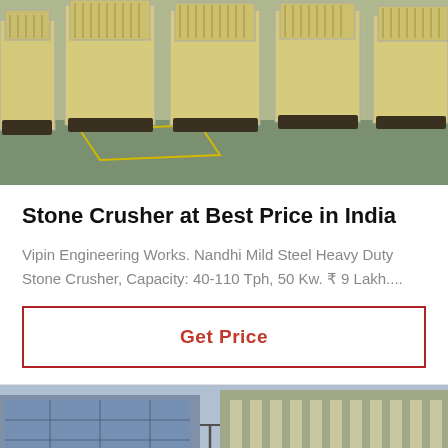[Figure (photo): Photo of multiple yellow/cream colored heavy-duty stone crusher machines lined up in an industrial warehouse with green floor.]
Stone Crusher at Best Price in India
Vipin Engineering Works. Nandhi Mild Steel Heavy Duty Stone Crusher, Capacity: 40-110 Tph, 50 Kw. ₹ 9 Lakh....
Get Price
[Figure (photo): Photo of a modern multi-story commercial or institutional building with glass facade, photographed from ground level with trees in foreground.]